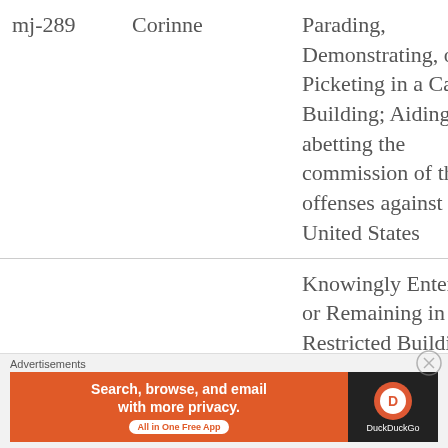| Case ID | Name | Charges |
| --- | --- | --- |
| mj-289 | Corinne | Parading, Demonstrating, or Picketing in a Capitol Building; Aiding and abetting the commission of these offenses against the United States |
|  |  | Knowingly Entering or Remaining in any Restricted Building or Grounds Without Lawful |
1-21-
[Figure (other): DuckDuckGo advertisement banner: orange left panel with text 'Search, browse, and email with more privacy. All in One Free App' and dark right panel with DuckDuckGo logo]